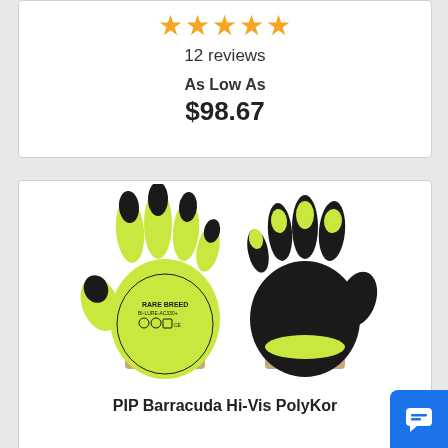★★★★★
12 reviews
As Low As
$98.67
[Figure (photo): Two work gloves with bright yellow-green (hi-vis) body and black textured rubber/latex coating on palms and fingers. A logo and safety symbols are visible on the back of one glove.]
PIP Barracuda Hi-Vis PolyKor